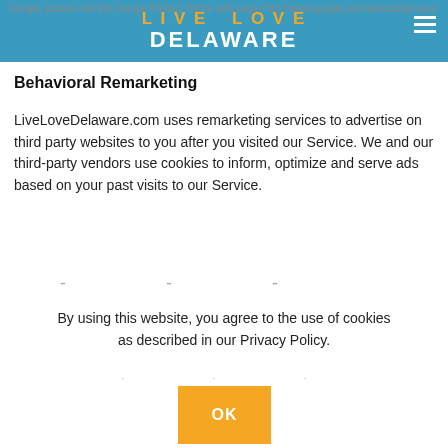LIVE LOVE DELAWARE
Google, please visit the Google Privacy Terms web page: http://www.google.com/policies/privacy/
Behavioral Remarketing
LiveLoveDelaware.com uses remarketing services to advertise on third party websites to you after you visited our Service. We and our third-party vendors use cookies to inform, optimize and serve ads based on your past visits to our Service.
By using this website, you agree to the use of cookies as described in our Privacy Policy.
OK